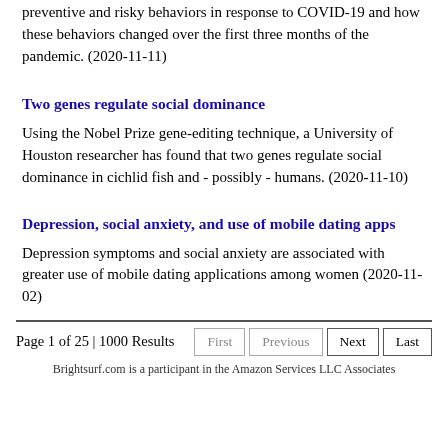preventive and risky behaviors in response to COVID-19 and how these behaviors changed over the first three months of the pandemic. (2020-11-11)
Two genes regulate social dominance
Using the Nobel Prize gene-editing technique, a University of Houston researcher has found that two genes regulate social dominance in cichlid fish and - possibly - humans. (2020-11-10)
Depression, social anxiety, and use of mobile dating apps
Depression symptoms and social anxiety are associated with greater use of mobile dating applications among women (2020-11-02)
Page 1 of 25 | 1000 Results
Brightsurf.com is a participant in the Amazon Services LLC Associates